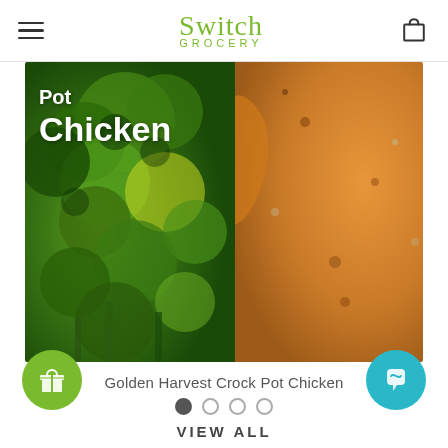Switch Grocery
[Figure (photo): Close-up photo of golden roasted chicken with broccoli on a white plate, with text 'Pot Chicken' overlaid in white]
Golden Harvest Crock Pot Chicken
[Figure (other): Carousel dots: one filled dark dot and three empty circles]
[Figure (other): Green circular gift/referral button on left, teal circular chat button on right]
VIEW ALL